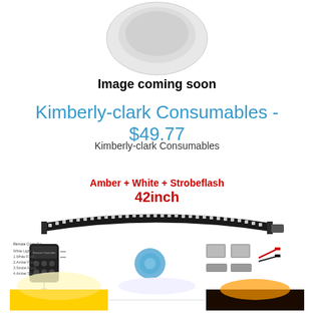[Figure (photo): Partial product image showing a rounded white/grey object (placeholder image coming soon)]
Image coming soon
Kimberly-clark Consumables - $49.77
Kimberly-clark Consumables
[Figure (photo): Product listing image showing a 42inch curved LED light bar with Amber + White + Strobeflash modes, with remote controller and mounting accessories shown below the bar. Bottom strip shows three light color samples.]